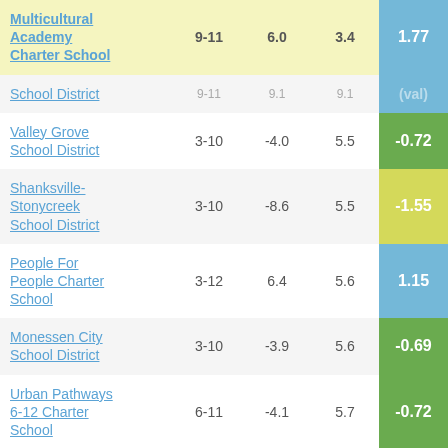| School/District | Grades | Col3 | Col4 | Score |
| --- | --- | --- | --- | --- |
| Multicultural Academy Charter School | 9-11 | 6.0 | 3.4 | 1.77 |
| School District | 9-11 | 9.1 | 9.1 | (val) |
| Valley Grove School District | 3-10 | -4.0 | 5.5 | -0.72 |
| Shanksville-Stonycreek School District | 3-10 | -8.6 | 5.5 | -1.55 |
| People For People Charter School | 3-12 | 6.4 | 5.6 | 1.15 |
| Monessen City School District | 3-10 | -3.9 | 5.6 | -0.69 |
| Urban Pathways 6-12 Charter School | 6-11 | -4.1 | 5.7 | -0.72 |
| Mastery Charter School |  |  |  |  |